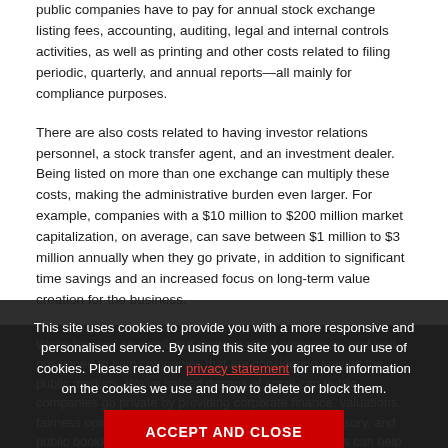public companies have to pay for annual stock exchange listing fees, accounting, auditing, legal and internal controls activities, as well as printing and other costs related to filing periodic, quarterly, and annual reports—all mainly for compliance purposes.
There are also costs related to having investor relations personnel, a stock transfer agent, and an investment dealer. Being listed on more than one exchange can multiply these costs, making the administrative burden even larger. For example, companies with a $10 million to $200 million market capitalization, on average, can save between $1 million to $3 million annually when they go private, in addition to significant time savings and an increased focus on long-term value creation for the business.
BDO can help
We're focused on small and medium-sized companies, and well positioned to help companies that are considering leaving the public markets. We've helped dozens of small-cap public companies go private by providing corporate finance, valuations, fairness opinions, business modelling, accounting advisory, and public bookkeeping services. Our team of professionals can help you navigate all the decisions along the way when you choose to go private. Contact our Corporate Finance and Valuations teams to learn
This site uses cookies to provide you with a more responsive and personalised service. By using this site you agree to our use of cookies. Please read our privacy statement for more information on the cookies we use and how to delete or block them.
ACCEPT AND CLOSE